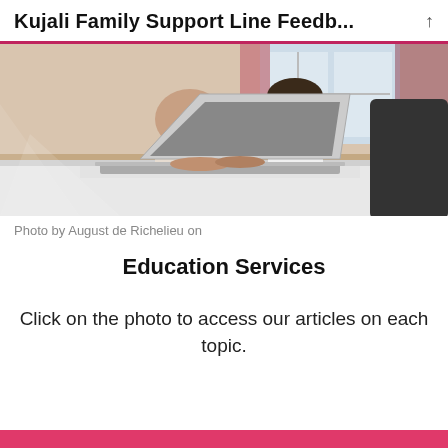Kujali Family Support Line Feedb...
[Figure (photo): An adult and a child sitting at a white table, both looking at and using a laptop computer. The child is young with dark hair, wearing a white shirt. The adult's hands are on the laptop keyboard.]
Photo by August de Richelieu on
Education Services
Click on the photo to access our articles on each topic.